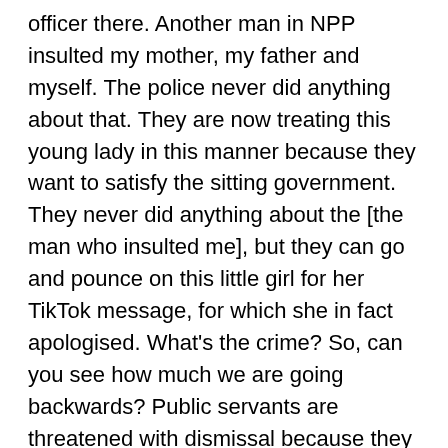officer there. Another man in NPP insulted my mother, my father and myself. The police never did anything about that. They are now treating this young lady in this manner because they want to satisfy the sitting government. They never did anything about the [the man who insulted me], but they can go and pounce on this little girl for her TikTok message, for which she in fact apologised. What's the crime? So, can you see how much we are going backwards? Public servants are threatened with dismissal because they support the opposition. In Jammeh's time, we all agreed that seyfolu should never take part in politics. That was part of Coalition 2016's agenda. But it's happening. Haven't you seen the circular from the controller of government vehicles? Barrow is going on campaign and they are commandeering government vehicles. So, the system hasn't changed. What we have done is to change the guard at the sentry post. In Jammeh's time, the people fought to bring about an end to that system, but if those who have been entrusted with the